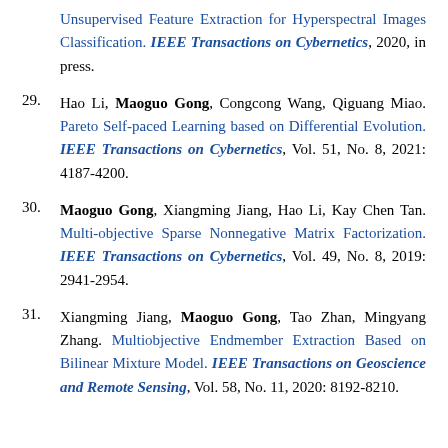Unsupervised Feature Extraction for Hyperspectral Images Classification. IEEE Transactions on Cybernetics, 2020, in press.
29. Hao Li, Maoguo Gong, Congcong Wang, Qiguang Miao. Pareto Self-paced Learning based on Differential Evolution. IEEE Transactions on Cybernetics, Vol. 51, No. 8, 2021: 4187-4200.
30. Maoguo Gong, Xiangming Jiang, Hao Li, Kay Chen Tan. Multi-objective Sparse Nonnegative Matrix Factorization. IEEE Transactions on Cybernetics, Vol. 49, No. 8, 2019: 2941-2954.
31. Xiangming Jiang, Maoguo Gong, Tao Zhan, Mingyang Zhang. Multiobjective Endmember Extraction Based on Bilinear Mixture Model. IEEE Transactions on Geoscience and Remote Sensing, Vol. 58, No. 11, 2020: 8192-8210.